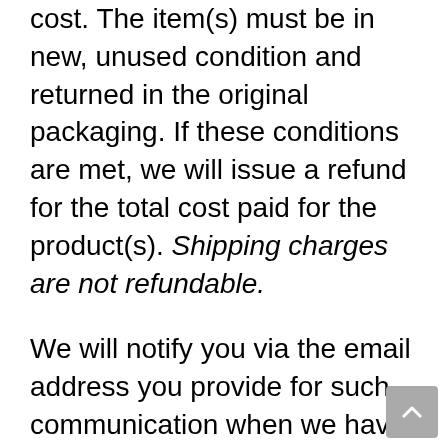cost. The item(s) must be in new, unused condition and returned in the original packaging. If these conditions are met, we will issue a refund for the total cost paid for the product(s). Shipping charges are not refundable.
We will notify you via the email address you provide for such communication when we have received your returned item(s) and made a determination on issuing a refund.
Once initiated, refund processing can take 3-7 business days subject to the Terms and Conditions described above through PayPal and your Financial Institution